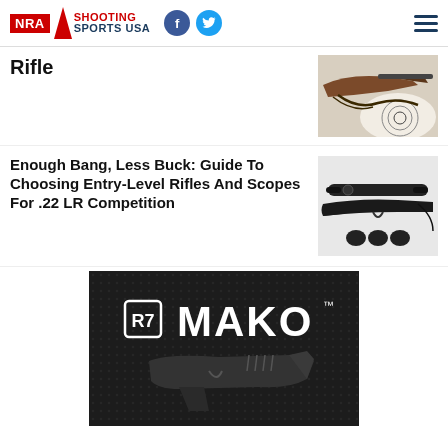NRA Shooting Sports USA
Rifle
[Figure (photo): Bolt-action rifle with sling resting on a paper target]
Enough Bang, Less Buck: Guide To Choosing Entry-Level Rifles And Scopes For .22 LR Competition
[Figure (photo): Rifle with scope and accessories on white background]
[Figure (photo): Advertisement for R7 MAKO pistol on dark textured background]